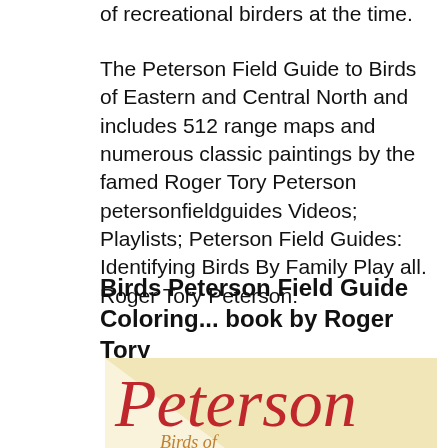of recreational birders at the time.
The Peterson Field Guide to Birds of Eastern and Central North and includes 512 range maps and numerous classic paintings by the famed Roger Tory Peterson petersonfieldguides Videos; Playlists; Peterson Field Guides: Identifying Birds By Family Play all. Roger Tory Peterson:
Birds Peterson Field Guide Coloring... book by Roger Tory
[Figure (logo): Peterson field guide book cover logo with large red 'Peterson' text and partial text 'Birds of' below, on a cream/beige diagonal background]